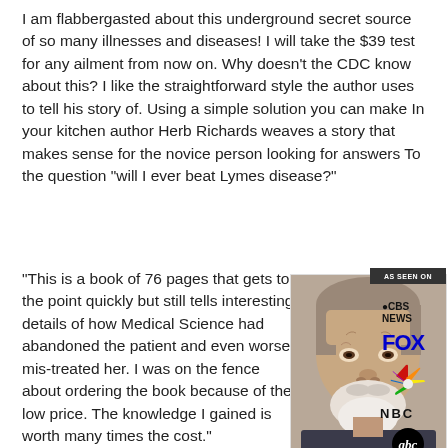I am flabbergasted about this underground secret source of so many illnesses and diseases! I will take the $39 test for any ailment from now on. Why doesn't the CDC know about this? I like the straightforward style the author uses to tell his story of. Using a simple solution you can make In your kitchen author Herb Richards weaves a story that makes sense for the novice person looking for answers To the question "will I ever beat Lymes disease?"
"This is a book of 76 pages that gets to the point quickly but still tells interesting details of how Medical Science had abandoned the patient and even worse mis-treated her. I was on the fence about ordering the book because of the low price. The knowledge I gained is worth many times the cost."
Testimonial
[Figure (photo): Portrait photo of an elderly man with white beard and gray hair, looking directly at camera]
[Figure (infographic): AS SEEN ON badge with CBS NEWS, FOX, NBC (peacock logo), and abc logos stacked vertically]